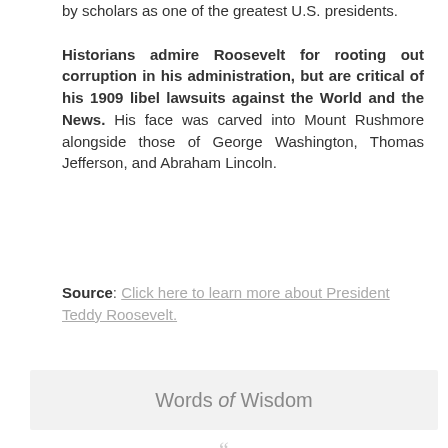by scholars as one of the greatest U.S. presidents. Historians admire Roosevelt for rooting out corruption in his administration, but are critical of his 1909 libel lawsuits against the World and the News. His face was carved into Mount Rushmore alongside those of George Washington, Thomas Jefferson, and Abraham Lincoln.
Source: Click here to learn more about President Teddy Roosevelt.
Words of Wisdom